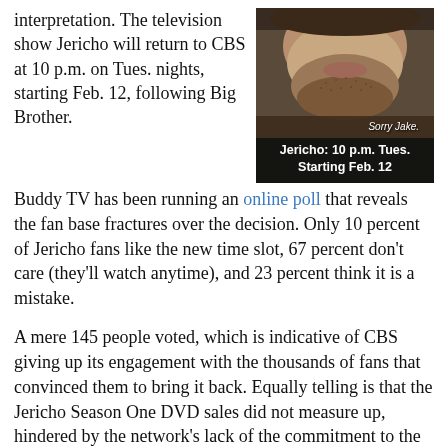interpretation. The television show Jericho will return to CBS at 10 p.m. on Tues. nights, starting Feb. 12, following Big Brother.
[Figure (photo): Close-up photo of a man's lower face with stubble. Overlay text reads 'Sorry Jake.' and caption bar reads 'Jericho: 10 p.m. Tues. Starting Feb. 12']
Buddy TV has been running an online poll that reveals the fan base fractures over the decision. Only 10 percent of Jericho fans like the new time slot, 67 percent don't care (they'll watch anytime), and 23 percent think it is a mistake.
A mere 145 people voted, which is indicative of CBS giving up its engagement with the thousands of fans that convinced them to bring it back. Equally telling is that the Jericho Season One DVD sales did not measure up, hindered by the network's lack of the commitment to the cause. We cautioned fans to promote the DVD heavily, as if CBS would not market it.
For pointing out the obvious, we received mixed reactions to our mixed reaction. While some did promote DVD sales,